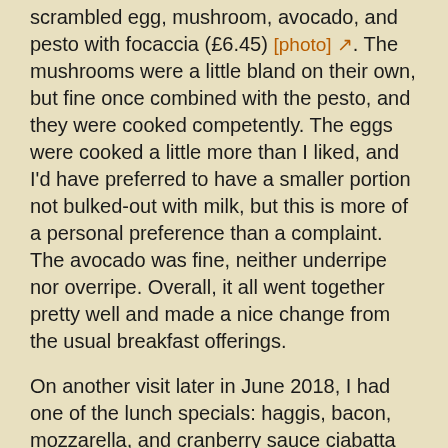scrambled egg, mushroom, avocado, and pesto with focaccia (£6.45) [photo]. The mushrooms were a little bland on their own, but fine once combined with the pesto, and they were cooked competently. The eggs were cooked a little more than I liked, and I'd have preferred to have a smaller portion not bulked-out with milk, but this is more of a personal preference than a complaint. The avocado was fine, neither underripe nor overripe. Overall, it all went together pretty well and made a nice change from the usual breakfast offerings.
On another visit later in June 2018, I had one of the lunch specials: haggis, bacon, mozzarella, and cranberry sauce ciabatta (£7.45 including leaf salad and crisps) [photo]. The unusual combination of ingredients worked surprisingly well, and the ciabatta was a decent size which along with the salad and crisps made it feel worth the price.
On another occasion, I'd heard about the...